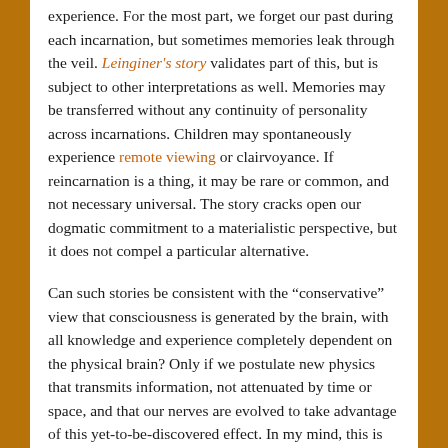experience. For the most part, we forget our past during each incarnation, but sometimes memories leak through the veil. Leinginer's story validates part of this, but is subject to other interpretations as well. Memories may be transferred without any continuity of personality across incarnations. Children may spontaneously experience remote viewing or clairvoyance. If reincarnation is a thing, it may be rare or common, and not necessary universal. The story cracks open our dogmatic commitment to a materialistic perspective, but it does not compel a particular alternative.
Can such stories be consistent with the “conservative” view that consciousness is generated by the brain, with all knowledge and experience completely dependent on the physical brain? Only if we postulate new physics that transmits information, not attenuated by time or space, and that our nerves are evolved to take advantage of this yet-to-be-discovered effect. In my mind, this is more of a stretch than simply to adopt William James’s view that the brain is a transducer, not a generator of consciousness.